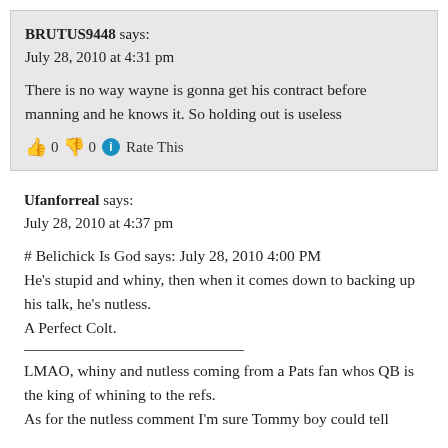BRUTUS9448 says:
July 28, 2010 at 4:31 pm
There is no way wayne is gonna get his contract before manning and he knows it. So holding out is useless
👍 0 👎 0 ℹ Rate This
Ufanforreal says:
July 28, 2010 at 4:37 pm
# Belichick Is God says: July 28, 2010 4:00 PM
He's stupid and whiny, then when it comes down to backing up his talk, he's nutless.
A Perfect Colt.
LMAO, whiny and nutless coming from a Pats fan whos QB is the king of whining to the refs.
As for the nutless comment I'm sure Tommy boy could tell